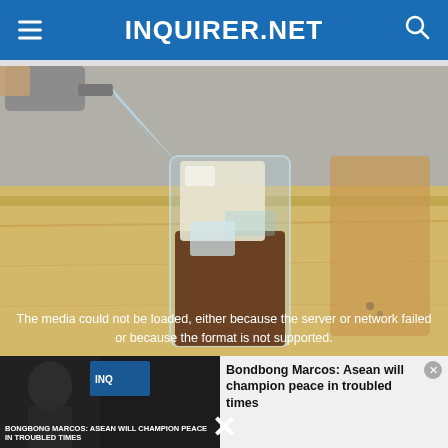INQUIRER.NET
[Figure (photo): A glass of iced drink (dark liquid, likely iced coffee or tea) with large ice cubes, being torched or heated with a blowtorch from above. The glass sits on a light wooden surface with a blurred background.]
The media could not be loaded, either because the server or network failed or because the format is not supported.
Bondbong Marcos: Asean will champion peace in troubled times
BONGBONG MARCOS: ASEAN WILL CHAMPION PEACE IN TROUBLED TIMES